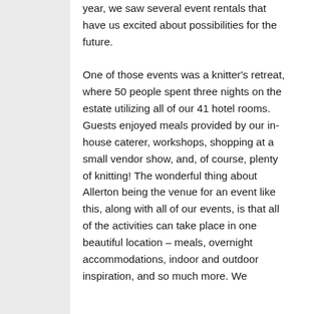year, we saw several event rentals that have us excited about possibilities for the future.

One of those events was a knitter's retreat, where 50 people spent three nights on the estate utilizing all of our 41 hotel rooms. Guests enjoyed meals provided by our in-house caterer, workshops, shopping at a small vendor show, and, of course, plenty of knitting! The wonderful thing about Allerton being the venue for an event like this, along with all of our events, is that all of the activities can take place in one beautiful location – meals, overnight accommodations, indoor and outdoor inspiration, and so much more. We